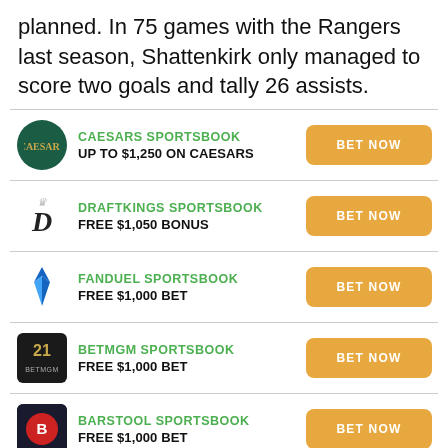planned. In 75 games with the Rangers last season, Shattenkirk only managed to score two goals and tally 26 assists.
CAESARS SPORTSBOOK — UP TO $1,250 ON CAESARS — BET NOW
DRAFTKINGS SPORTSBOOK — FREE $1,050 BONUS — BET NOW
FANDUEL SPORTSBOOK — FREE $1,000 BET — BET NOW
BETMGM SPORTSBOOK — FREE $1,000 BET — BET NOW
BARSTOOL SPORTSBOOK — FREE $1,000 BET — BET NOW